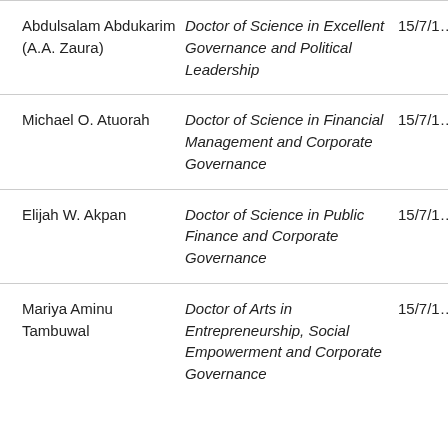| Name | Degree | Date |
| --- | --- | --- |
| Abdulsalam Abdukarim (A.A. Zaura) | Doctor of Science in Excellent Governance and Political Leadership | 15/7/1… |
| Michael O. Atuorah | Doctor of Science in Financial Management and Corporate Governance | 15/7/1… |
| Elijah W. Akpan | Doctor of Science in Public Finance and Corporate Governance | 15/7/1… |
| Mariya Aminu Tambuwal | Doctor of Arts in Entrepreneurship, Social Empowerment and Corporate Governance | 15/7/1… |